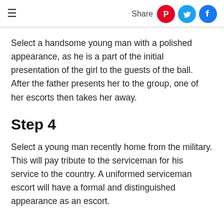Share
Select a handsome young man with a polished appearance, as he is a part of the initial presentation of the girl to the guests of the ball. After the father presents her to the group, one of her escorts then takes her away.
Step 4
Select a young man recently home from the military. This will pay tribute to the serviceman for his service to the country. A uniformed serviceman escort will have a formal and distinguished appearance as an escort.